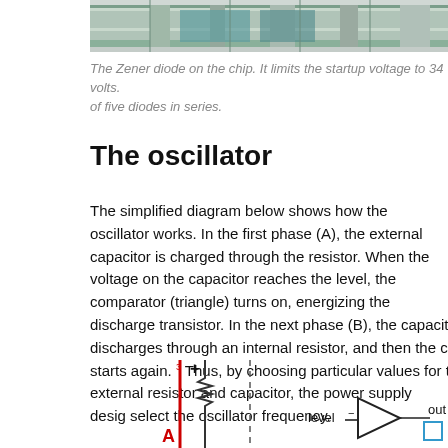[Figure (photo): Close-up photo of a chip showing the Zener diode structure, with teal/green colored silicon regions visible]
The Zener diode on the chip. It limits the startup voltage to 34 volts. of five diodes in series.
The oscillator
The simplified diagram below shows how the oscillator works. In the first phase (A), the external capacitor is charged through the resistor. When the voltage on the capacitor reaches the level, the comparator (triangle) turns on, energizing the discharge transistor. In the next phase (B), the capacitor discharges through an internal resistor, and then the cycle starts again.³ Thus, by choosing particular values for the external resistor and capacitor, the power supply designer can select the oscillator frequency.
[Figure (circuit-diagram): Partial circuit diagram showing phase A of the oscillator with a red vertical power line, a resistor symbol, a dashed vertical line (capacitor connection), a comparator triangle labeled 'level' with minus input, and an 'out' label partially visible at right]